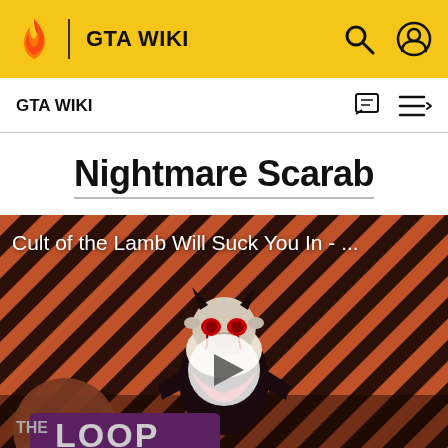GTA WIKI
GTA WIKI
Nightmare Scarab
[Figure (screenshot): Video thumbnail showing 'Cult of the Lamb Will Suck You In - ...' with a cartoon character and The Loop logo, with a play button overlay]